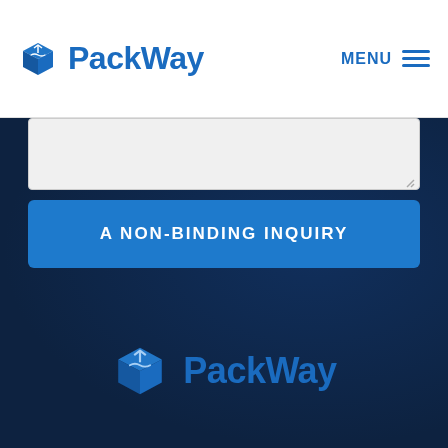PackWay — MENU
[Figure (screenshot): Gray textarea input box at top of form]
A NON-BINDING INQUIRY
[Figure (logo): PackWay logo with blue 3D box icon and PackWay text in blue, displayed in footer on dark navy background]